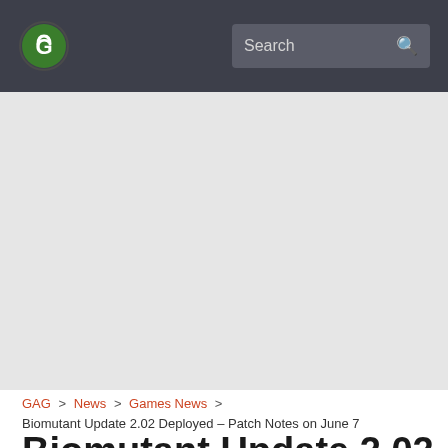GAG [logo] Search
[Figure (other): Large light gray banner/advertisement placeholder area]
GAG > News > Games News > Biomutant Update 2.02 Deployed – Patch Notes on June 7
Biomutant Update 2.02 Deployed – Patch Notes on June 7